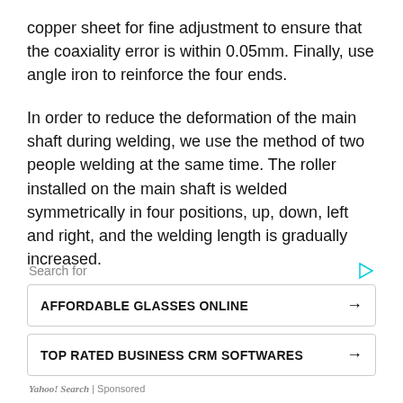copper sheet for fine adjustment to ensure that the coaxiality error is within 0.05mm. Finally, use angle iron to reinforce the four ends.
In order to reduce the deformation of the main shaft during welding, we use the method of two people welding at the same time. The roller installed on the main shaft is welded symmetrically in four positions, up, down, left and right, and the welding length is gradually increased.
[Figure (other): Sponsored search ad widget with 'Search for' label, a cyan play icon, and two ad buttons: 'AFFORDABLE GLASSES ONLINE' and 'TOP RATED BUSINESS CRM SOFTWARES', each with a right arrow. Footer: 'Yahoo! Search | Sponsored']